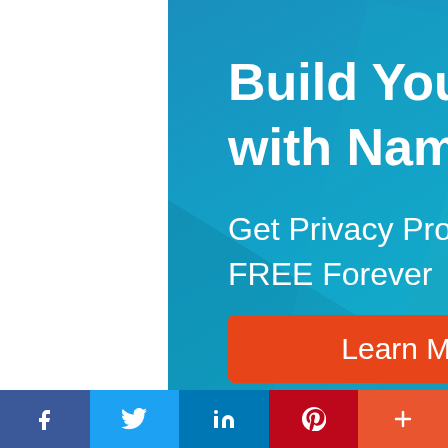[Figure (illustration): Namecheap advertisement banner with blue gradient background, bold white text 'Build Your Website with Namecheap', subtext 'Get Privacy Protection FREE Forever', and an orange 'Learn More' button. Namecheap logo in top right.]
[Figure (infographic): Social media share bar at bottom with Facebook (dark blue), Twitter (light blue), LinkedIn (blue), Pinterest (red), and More/Plus (orange-red) buttons with their respective icons.]